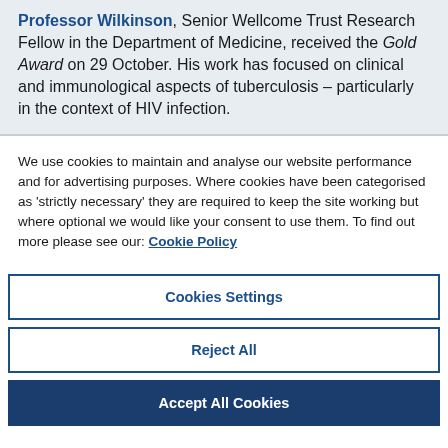Professor Wilkinson, Senior Wellcome Trust Research Fellow in the Department of Medicine, received the Gold Award on 29 October. His work has focused on clinical and immunological aspects of tuberculosis – particularly in the context of HIV infection.
We use cookies to maintain and analyse our website performance and for advertising purposes. Where cookies have been categorised as 'strictly necessary' they are required to keep the site working but where optional we would like your consent to use them. To find out more please see our: Cookie Policy
Cookies Settings
Reject All
Accept All Cookies